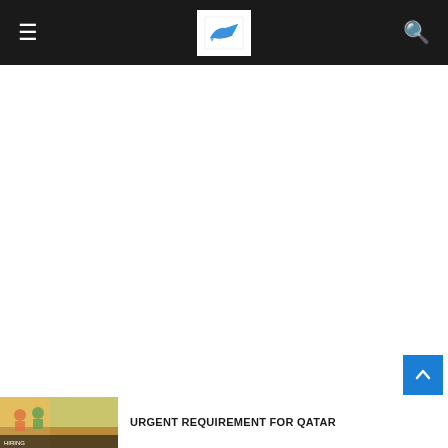≡  [Logo]  🔍
POPULAR POSTS
URGENT REQUIREMENT FOR QATAR